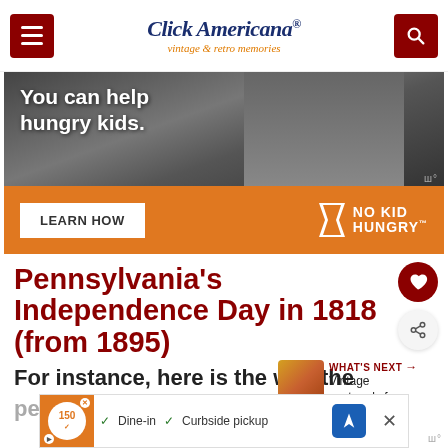Click Americana® — vintage & retro memories
[Figure (photo): No Kid Hungry advertisement banner showing a child eating, with text 'You can help hungry kids.' on a photo background and orange bar below with 'LEARN HOW' button and 'NO KID HUNGRY' logo]
Pennsylvania's Independence Day in 1818 (from 1895)
For instance, here is the way the
[Figure (screenshot): Bottom ad overlay showing a restaurant ad with 'Dine-in' and 'Curbside pickup' options and a Google Maps navigation arrow]